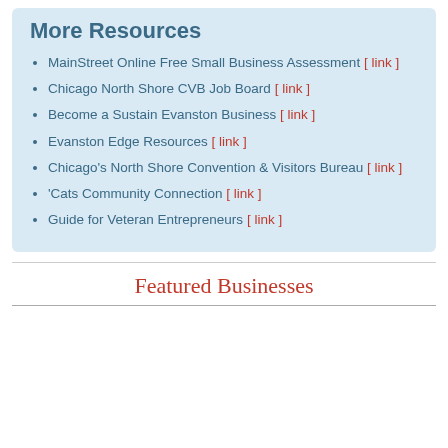More Resources
MainStreet Online Free Small Business Assessment [ link ]
Chicago North Shore CVB Job Board [ link ]
Become a Sustain Evanston Business [ link ]
Evanston Edge Resources [ link ]
Chicago's North Shore Convention & Visitors Bureau [ link ]
'Cats Community Connection [ link ]
Guide for Veteran Entrepreneurs [ link ]
Featured Businesses